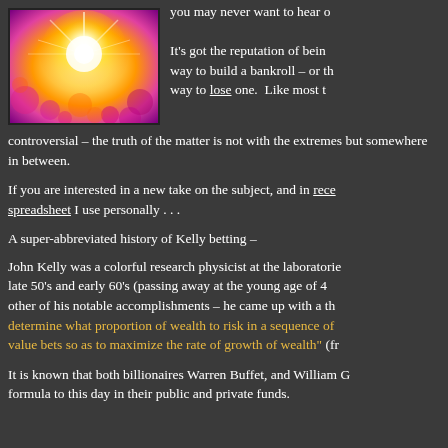[Figure (photo): Abstract bokeh light burst image with yellow, orange, and purple/pink circular bokeh lights on a dark background]
you may never want to hear of this again.
It's got the reputation of being either the best way to build a bankroll – or the surest way to lose one. Like most things controversial – the truth of the matter is not with the extremes but somewhere in between.
If you are interested in a new take on the subject, and in [rece... spreadsheet] I use personally . . .
A super-abbreviated history of Kelly betting –
John Kelly was a colorful research physicist at the laboratories in the late 50's and early 60's (passing away at the young age of 41). Among other of his notable accomplishments – he came up with a theory to determine what proportion of wealth to risk in a sequence of positive value bets so as to maximize the rate of growth of wealth" (fr...
It is known that both billionaires Warren Buffet, and William G... formula to this day in their public and private funds.